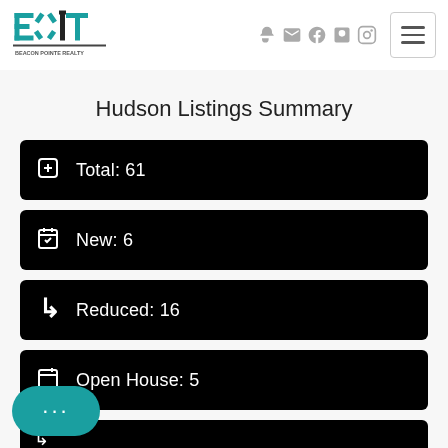[Figure (logo): EXIT Beacon Pointe Realty logo in teal and black]
Hudson Listings Summary
Total: 61
New: 6
Reduced: 16
Open House: 5